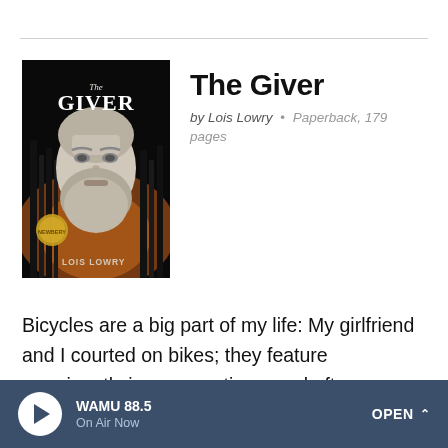[Figure (illustration): Book cover of 'The Giver' by Lois Lowry — black and white image of a bearded old man's face, with tall trees and orange sunset in background. Title 'The Giver' at top and 'LOIS LOWRY' at bottom left. Gold Newbery Medal on lower left.]
The Giver
by Lois Lowry • Paperback, 179 pages
Bicycles are a big part of my life: My girlfriend and I courted on bikes; they feature prominently in our vacations; and after watching one too many apocalyptic films, we've
WAMU 88.5 On Air Now OPEN ^